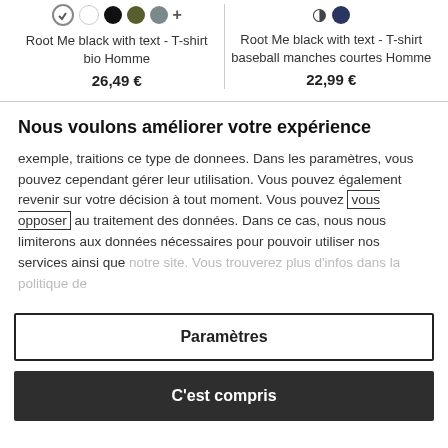[Figure (screenshot): Product listing showing two t-shirts with color swatches, names, and prices]
Root Me black with text - T-shirt bio Homme
26,49 €
Root Me black with text - T-shirt baseball manches courtes Homme
22,99 €
Nous voulons améliorer votre expérience
exemple, traitions ce type de donnees. Dans les paramètres, vous pouvez cependant gérer leur utilisation. Vous pouvez également revenir sur votre décision à tout moment. Vous pouvez vous opposer au traitement des données. Dans ce cas, nous nous limiterons aux données nécessaires pour pouvoir utiliser nos services ainsi que notre site. Vous trouverez plus d'infos dans la politique de
Paramètres
C'est compris